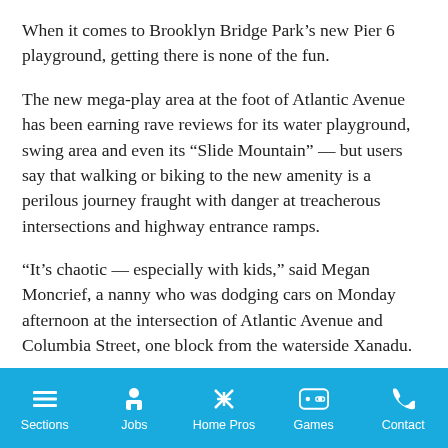When it comes to Brooklyn Bridge Park's new Pier 6 playground, getting there is none of the fun.
The new mega-play area at the foot of Atlantic Avenue has been earning rave reviews for its water playground, swing area and even its “Slide Mountain” — but users say that walking or biking to the new amenity is a perilous journey fraught with danger at treacherous intersections and highway entrance ramps.
“It’s chaotic — especially with kids,” said Megan Moncrief, a nanny who was dodging cars on Monday afternoon at the intersection of Atlantic Avenue and Columbia Street, one block from the waterside Xanadu.
The area’s venerable civic group has quickly jumped on the call
Sections  Jobs  Home Pros  Games  Contact